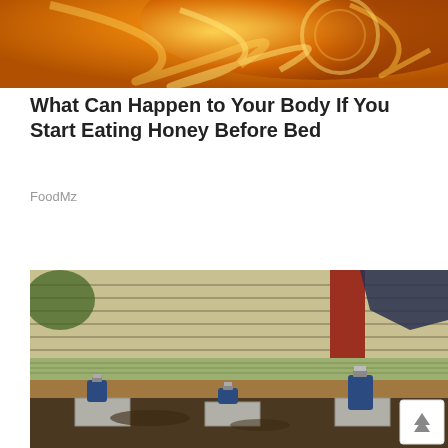[Figure (photo): Abstract golden/orange swirl background banner at top of page]
What Can Happen to Your Body If You Start Eating Honey Before Bed
FoodMz
[Figure (photo): Photo of a house being lifted/leveled with hydraulic bottle jacks placed under the sill beam on concrete blocks. The house has light-colored horizontal siding and a red door frame visible. Dirt and construction debris on the ground below.]